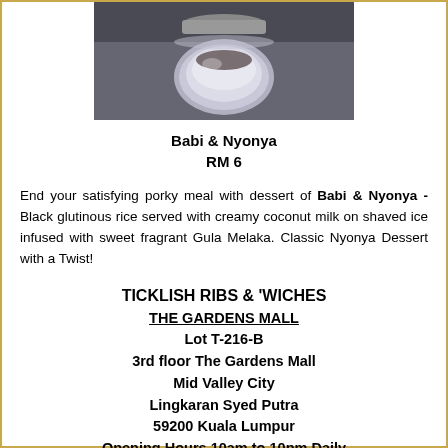[Figure (photo): Photo of a glass dessert jar/cup with shaved ice dessert, dark background]
Babi & Nyonya
RM 6
End your satisfying porky meal with dessert of Babi & Nyonya - Black glutinous rice served with creamy coconut milk on shaved ice infused with sweet fragrant Gula Melaka. Classic Nyonya Dessert with a Twist!
TICKLISH RIBS & 'WICHES
THE GARDENS MALL
Lot T-216-B
3rd floor The Gardens Mall
Mid Valley City
Lingkaran Syed Putra
59200 Kuala Lumpur
Opening Hours 10am to 10pm Daily
Tel 012 - 567 2216